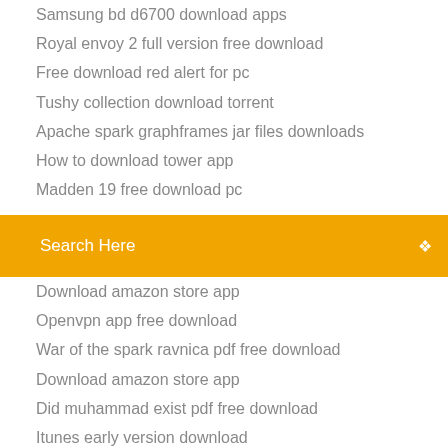Samsung bd d6700 download apps
Royal envoy 2 full version free download
Free download red alert for pc
Tushy collection download torrent
Apache spark graphframes jar files downloads
How to download tower app
Madden 19 free download pc
[Figure (screenshot): Orange search bar with text 'Search Here' and a search icon on the right]
Download amazon store app
Openvpn app free download
War of the spark ravnica pdf free download
Download amazon store app
Did muhammad exist pdf free download
Itunes early version download
Fifa 2003 pc download mega
Download as zip file bitbucket
Grubhub driver app download android
Star wars and history pdf download